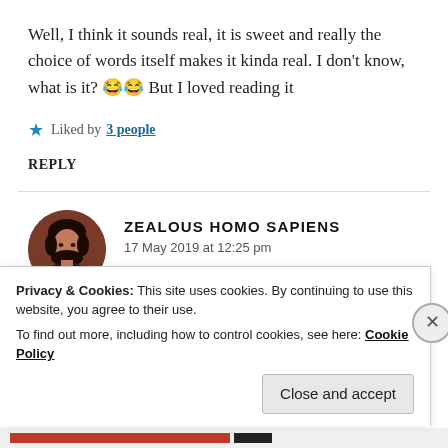Well, I think it sounds real, it is sweet and really the choice of words itself makes it kinda real. I don't know, what is it? 😂😂 But I loved reading it
★ Liked by 3 people
REPLY
ZEALOUS HOMO SAPIENS
17 May 2019 at 12:25 pm
Privacy & Cookies: This site uses cookies. By continuing to use this website, you agree to their use.
To find out more, including how to control cookies, see here: Cookie Policy
Close and accept